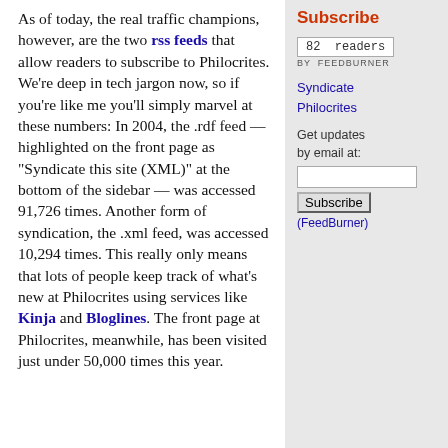As of today, the real traffic champions, however, are the two rss feeds that allow readers to subscribe to Philocrites. We're deep in tech jargon now, so if you're like me you'll simply marvel at these numbers: In 2004, the .rdf feed — highlighted on the front page as "Syndicate this site (XML)" at the bottom of the sidebar — was accessed 91,726 times. Another form of syndication, the .xml feed, was accessed 10,294 times. This really only means that lots of people keep track of what's new at Philocrites using services like Kinja and Bloglines. The front page at Philocrites, meanwhile, has been visited just under 50,000 times this year.
Subscribe
82 readers BY FEEDBURNER
Syndicate Philocrites
Get updates by email at:
Subscribe (FeedBurner)